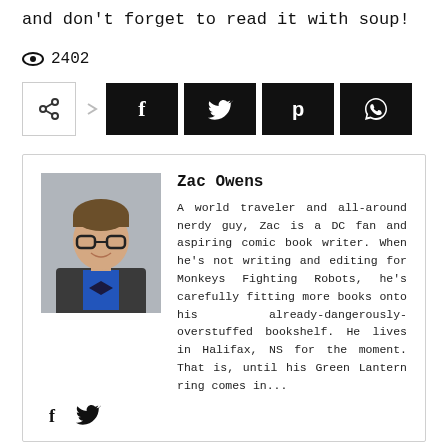and don't forget to read it with soup!
2402
[Figure (infographic): Share button row with a share icon button (outlined), followed by four black square social media buttons: Facebook (f), Twitter (bird), Pinterest (P), WhatsApp (phone).]
Zac Owens
A world traveler and all-around nerdy guy, Zac is a DC fan and aspiring comic book writer. When he's not writing and editing for Monkeys Fighting Robots, he's carefully fitting more books onto his already-dangerously-overstuffed bookshelf. He lives in Halifax, NS for the moment. That is, until his Green Lantern ring comes in...